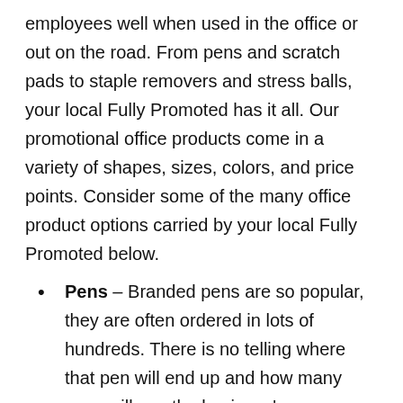employees well when used in the office or out on the road. From pens and scratch pads to staple removers and stress balls, your local Fully Promoted has it all. Our promotional office products come in a variety of shapes, sizes, colors, and price points. Consider some of the many office product options carried by your local Fully Promoted below.
Pens – Branded pens are so popular, they are often ordered in lots of hundreds. There is no telling where that pen will end up and how many eyes will see the business's name.
Scratch Pads & Sticky Notes – With the brand's logo or tagline, these are highly sought